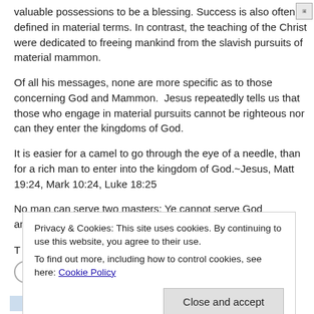valuable possessions to be a blessing. Success is also often defined in material terms. In contrast, the teaching of the Christ were dedicated to freeing mankind from the slavish pursuits of material mammon.
Of all his messages, none are more specific as to those concerning God and Mammon.  Jesus repeatedly tells us that those who engage in material pursuits cannot be righteous nor can they enter the kingdoms of God.
It is easier for a camel to go through the eye of a needle, than for a rich man to enter into the kingdom of God.~Jesus, Matt 19:24, Mark 10:24, Luke 18:25
No man can serve two masters: Ye cannot serve God and Mammon. ~Jesus, Matt 6:24, Luke 16:13
Privacy & Cookies: This site uses cookies. By continuing to use this website, you agree to their use.
To find out more, including how to control cookies, see here: Cookie Policy
MARCH 31, 2015 · 7:41 PM